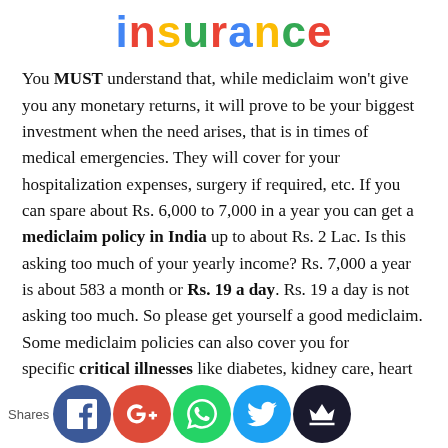insurance
You MUST understand that, while mediclaim won't give you any monetary returns, it will prove to be your biggest investment when the need arises, that is in times of medical emergencies. They will cover for your hospitalization expenses, surgery if required, etc. If you can spare about Rs. 6,000 to 7,000 in a year you can get a mediclaim policy in India up to about Rs. 2 Lac. Is this asking too much of your yearly income? Rs. 7,000 a year is about 583 a month or Rs. 19 a day. Rs. 19 a day is not asking too much. So please get yourself a good mediclaim. Some mediclaim policies can also cover you for specific critical illnesses like diabetes, kidney care, heart disease, cancer, which
[Figure (illustration): Social share bar with Facebook, Google+, WhatsApp, Twitter, and Crown icons at the bottom of the page, with 'Shares' label on the left]